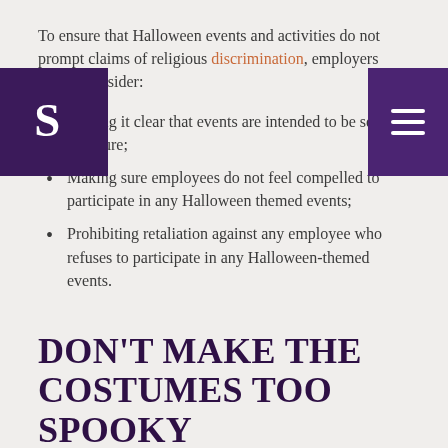To ensure that Halloween events and activities do not prompt claims of religious discrimination, employers should consider:
Making it clear that events are intended to be secular in nature;
Making sure employees do not feel compelled to participate in any Halloween themed events;
Prohibiting retaliation against any employee who refuses to participate in any Halloween-themed events.
DON'T MAKE THE COSTUMES TOO SPOOKY
A fun way to get into the Halloween spirit, especially in a virtual workplace, is to dress in